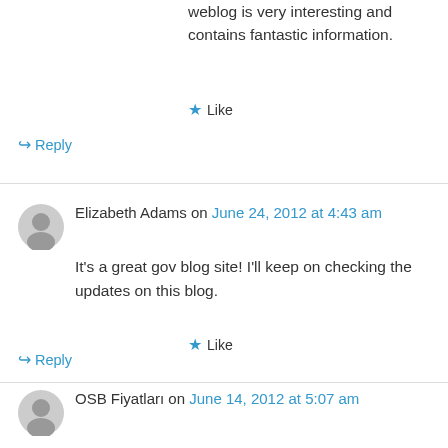Weblog is very interesting and contains fantastic information.
★ Like
↪ Reply
Elizabeth Adams on June 24, 2012 at 4:43 am
It's a great gov blog site! I'll keep on checking the updates on this blog.
★ Like
↪ Reply
OSB Fiyatları on June 14, 2012 at 5:07 am
Good website , I think , especially your blog is very cute. Good lucks . Im OSB Fiyatları